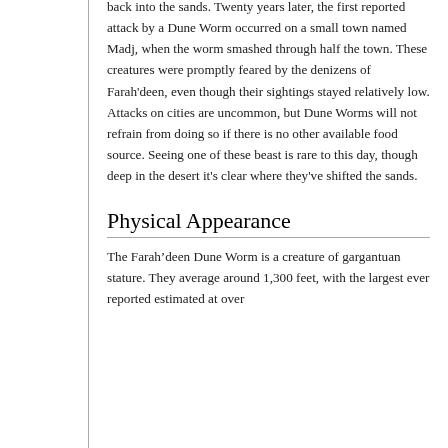back into the sands. Twenty years later, the first reported attack by a Dune Worm occurred on a small town named Madj, when the worm smashed through half the town. These creatures were promptly feared by the denizens of Farah'deen, even though their sightings stayed relatively low. Attacks on cities are uncommon, but Dune Worms will not refrain from doing so if there is no other available food source. Seeing one of these beast is rare to this day, though deep in the desert it's clear where they've shifted the sands.
Physical Appearance
The Farah’deen Dune Worm is a creature of gargantuan stature. They average around 1,300 feet, with the largest ever reported estimated at over